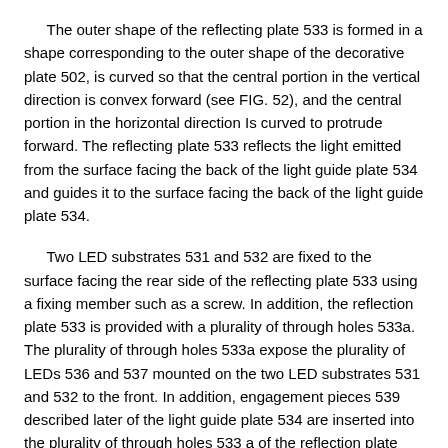The outer shape of the reflecting plate 533 is formed in a shape corresponding to the outer shape of the decorative plate 502, is curved so that the central portion in the vertical direction is convex forward (see FIG. 52), and the central portion in the horizontal direction Is curved to protrude forward. The reflecting plate 533 reflects the light emitted from the surface facing the back of the light guide plate 534 and guides it to the surface facing the back of the light guide plate 534.
Two LED substrates 531 and 532 are fixed to the surface facing the rear side of the reflecting plate 533 using a fixing member such as a screw. In addition, the reflection plate 533 is provided with a plurality of through holes 533a. The plurality of through holes 533a expose the plurality of LEDs 536 and 537 mounted on the two LED substrates 531 and 532 to the front. In addition, engagement pieces 539 described later of the light guide plate 534 are inserted into the plurality of through holes 533 a of the reflection plate 533.
The light guide plate 534 is formed in an outer shape corresponding to the outer shape of the decorative plate